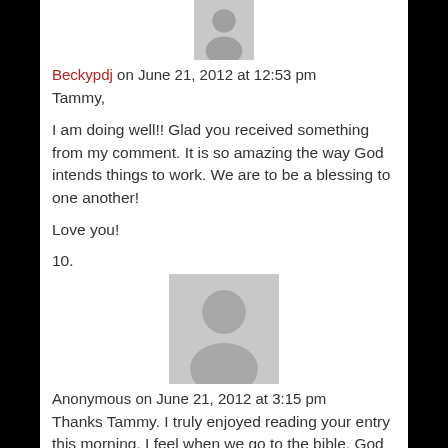[Figure (illustration): Partial grey default avatar silhouette at top of page]
Beckypdj on June 21, 2012 at 12:53 pm
Tammy,

I am doing well!! Glad you received something from my comment. It is so amazing the way God intends things to work. We are to be a blessing to one another!

Love you!
10.
[Figure (illustration): Grey default avatar silhouette, full square placeholder image]
Anonymous on June 21, 2012 at 3:15 pm
Thanks Tammy. I truly enjoyed reading your entry this morning. I feel when we go to the bible, God